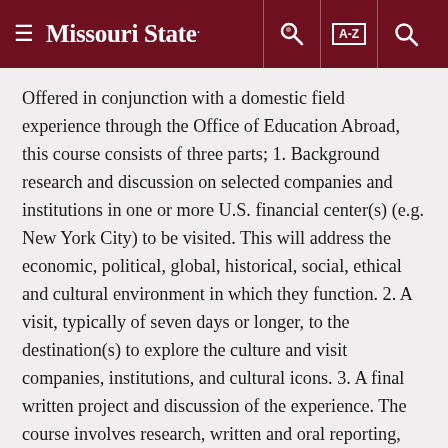Missouri State [navigation header with menu, key, A-Z, and search icons]
Offered in conjunction with a domestic field experience through the Office of Education Abroad, this course consists of three parts; 1. Background research and discussion on selected companies and institutions in one or more U.S. financial center(s) (e.g. New York City) to be visited. This will address the economic, political, global, historical, social, ethical and cultural environment in which they function. 2. A visit, typically of seven days or longer, to the destination(s) to explore the culture and visit companies, institutions, and cultural icons. 3. A final written project and discussion of the experience. The course involves research, written and oral reporting, and presentations. Group interaction based upon trust, respect, and integrity are required.